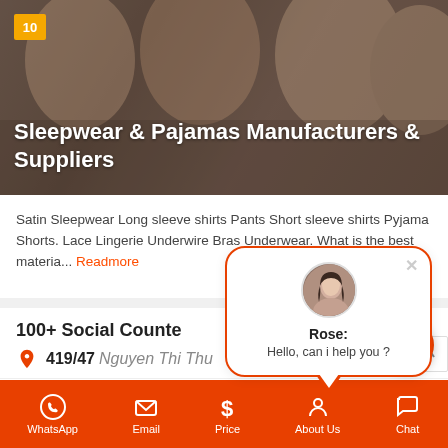[Figure (screenshot): Hero banner image with blurred photo of people in sleepwear/pajamas background. Yellow badge '10' in top left corner.]
Sleepwear & Pajamas Manufacturers & Suppliers
Satin Sleepwear Long sleeve shirts Pants Short sleeve shirts Pyjama Shorts. Lace Lingerie Underwire Bras Underwear. What is the best materia... Readmore
100+ Social Counte
419/47 Nguyen Thi Thu
32 Pho Quang St. Office
[Figure (screenshot): Chat popup dialog with avatar photo of Rose, text 'Rose: Hello, can i help you ?', with close X button and orange border]
WhatsApp  Email  Price  About Us  Chat